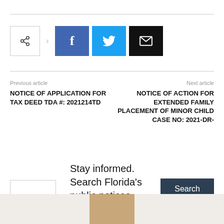[Figure (infographic): Social share bar with share button, arrow, Facebook, Twitter, and email buttons]
Previous article
Next article
NOTICE OF APPLICATION FOR TAX DEED TDA #: 2021214TD
NOTICE OF ACTION FOR EXTENDED FAMILY PLACEMENT OF MINOR CHILD CASE NO: 2021-DR-
Stay informed. Search Florida's public notices.
Search